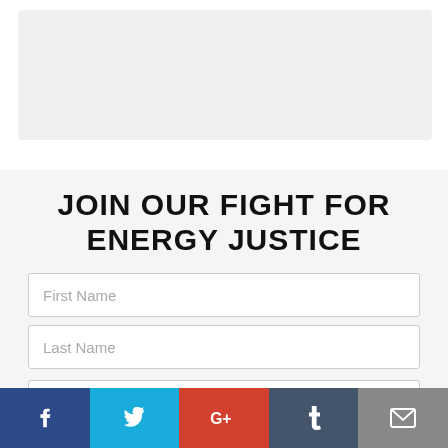[Figure (other): Top image area placeholder, light gray rectangle]
JOIN OUR FIGHT FOR ENERGY JUSTICE
First Name
Last Name
Email address
[Figure (infographic): Social share bar with Facebook, Twitter, Google+, Tumblr, and Email icons]